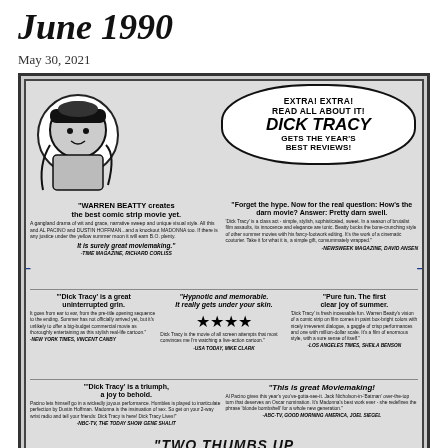June 1990
May 30, 2021
[Figure (photo): A black and white newspaper advertisement for Dick Tracy movie featuring a newsboy character with a speech bubble reading 'EXTRA! EXTRA! READ ALL ABOUT IT! DICK TRACY GETS THE YEAR'S BEST REVIEWS!' followed by multiple critic review quotes from Time Magazine, Newsweek, New York Times, USA Today, Los Angeles Times, NBC-TV, ABC-TV, and partially visible 'Two Thumbs Up' text at bottom.]